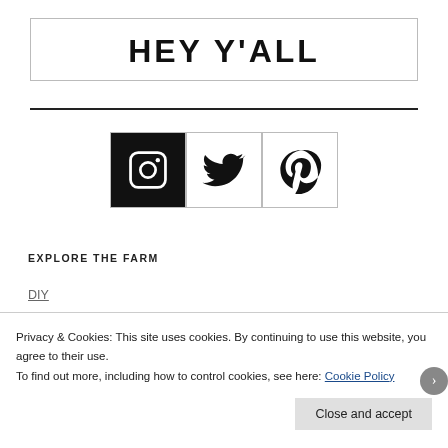HEY Y'ALL
[Figure (other): Three social media icons: Instagram (filled black square with camera icon), Twitter (bird icon), Pinterest (P icon)]
EXPLORE THE FARM
DIY
Privacy & Cookies: This site uses cookies. By continuing to use this website, you agree to their use.
To find out more, including how to control cookies, see here: Cookie Policy
Close and accept